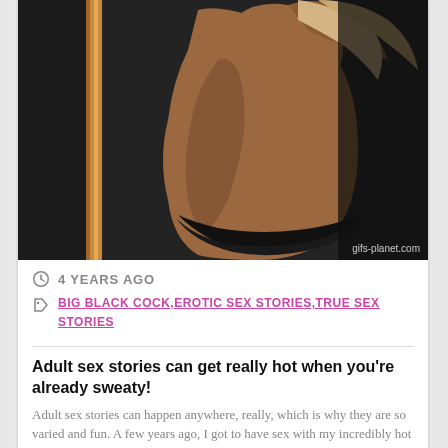[Figure (photo): A toned female figure from behind, wearing black bikini bottom, arms raised, leaning against a pole with dark background. Watermark reads gifs-planet.com]
4 YEARS AGO
BIG BLACK COCK,EROTIC SEX STORIES,TRUE SEX STORIES
Adult sex stories can get really hot when you're already sweaty!
Adult sex stories can happen anywhere, really, which is why they are so varied and fun. A few years ago, I got to have sex with my incredibly hot dance teacher in the dance studio!